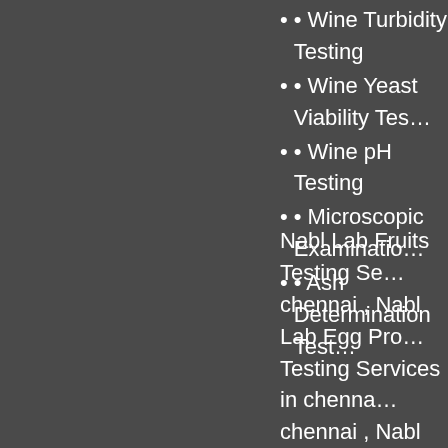• Wine Turbidity Testing
• Wine Yeast Viability Tes…
• Wine pH Testing
• Microscopic Examinatio…
• Ash Determination Test…
Nabl Lab Fruits Testing Se… chennai , Nabl Lab Egg Pro… Testing Services in chenna… chennai , Nabl Lab Animal F… Services in chennai , Nabl … Testing Services in chennai Nabl Lab Beverages Testing… Poultry Testing Services in c… , Nabl Lab Milk Testing Serv… in chennai , Nabl Lab Nutrit… Nabl Lab Microbiol…